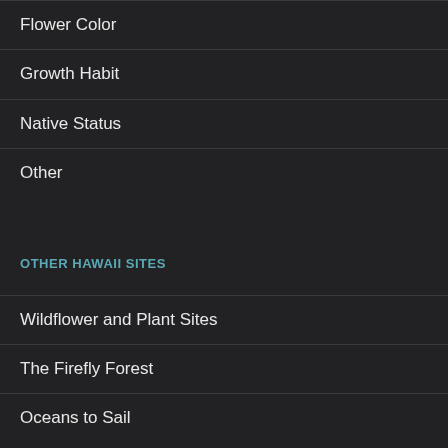Flower Color
Growth Habit
Native Status
Other
OTHER HAWAII SITES
Wildflower and Plant Sites
The Firefly Forest
Oceans to Sail